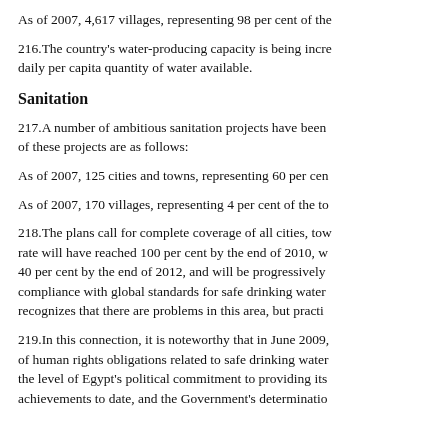As of 2007, 4,617 villages, representing 98 per cent of the
216.The country's water-producing capacity is being incre daily per capita quantity of water available.
Sanitation
217.A number of ambitious sanitation projects have been of these projects are as follows:
As of 2007, 125 cities and towns, representing 60 per cen
As of 2007, 170 villages, representing 4 per cent of the to
218.The plans call for complete coverage of all cities, tow rate will have reached 100 per cent by the end of 2010, w 40 per cent by the end of 2012, and will be progressively compliance with global standards for safe drinking water recognizes that there are problems in this area, but practi
219.In this connection, it is noteworthy that in June 2009, of human rights obligations related to safe drinking water the level of Egypt's political commitment to providing its achievements to date, and the Government's determinatio